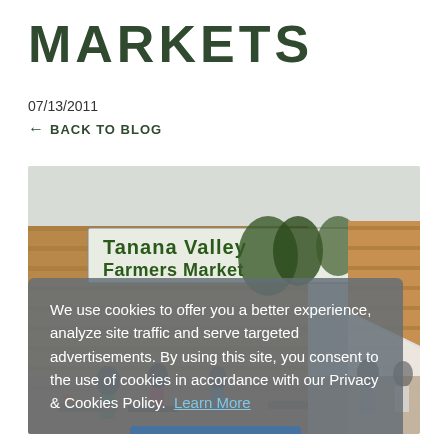MARKETS
07/13/2011
← BACK TO BLOG
[Figure (photo): Outdoor farmers market scene showing a large banner reading 'Tanana Valley Farmers Market' on a wooden building, with vendors, white tents, and people browsing stalls.]
We use cookies to offer you a better experience, analyze site traffic and serve targeted advertisements. By using this site, you consent to the use of cookies in accordance with our Privacy & Cookies Policy.  Learn More
Accept